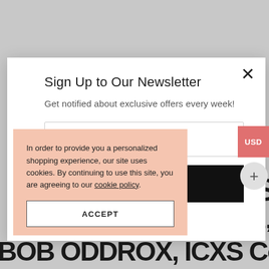Sign Up to Our Newsletter
Get notified about exclusive offers every week!
Your E-Mail
In order to provide you a personalized shopping experience, our site uses cookies. By continuing to use this site, you are agreeing to our cookie policy.
ACCEPT
USD
+
3785-KL,
BOB ODDROX, ICXS Cooling,